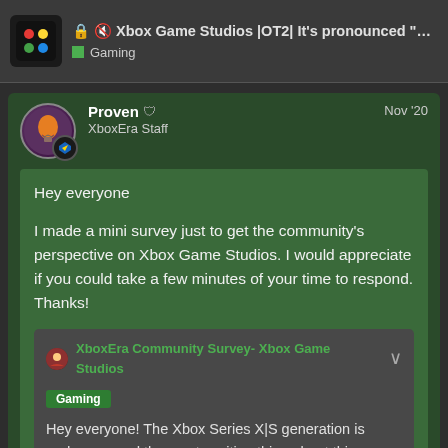Xbox Game Studios |OT2| It's pronounced "…" — Gaming
Proven · XboxEra Staff · Nov '20
Hey everyone

I made a mini survey just to get the community's perspective on Xbox Game Studios. I would appreciate if you could take a few minutes of your time to respond. Thanks!
XboxEra Community Survey- Xbox Game Studios
Gaming
Hey everyone! The Xbox Series X|S generation is underway, and the most exciting thing about this upcoming generation is the promise of Xbox Game Studios. We at XboxEra are interested in hearing what the community thinks about the upcoming games coming from XGS. We are proposing a
7221 / 9953